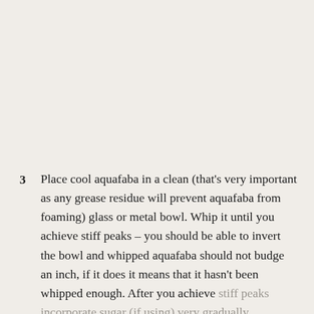3  Place cool aquafaba in a clean (that’s very important as any grease residue will prevent aquafaba from foaming) glass or metal bowl. Whip it until you achieve stiff peaks – you should be able to invert the bowl and whipped aquafaba should not budge an inch, if it does it means that it hasn’t been whipped enough. After you achieve stiff peaks incorporate sugar (if using) very gradually, whisking well after each addition.